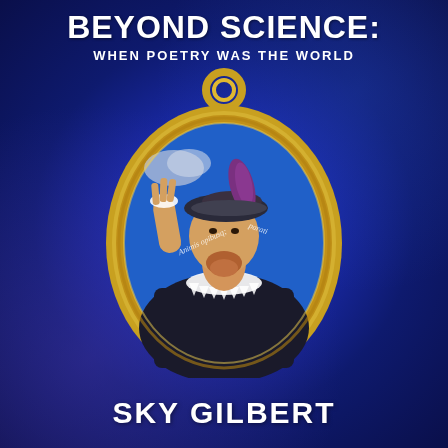BEYOND SCIENCE: WHEN POETRY WAS THE WORLD
[Figure (illustration): Oval medallion portrait of a Renaissance-era nobleman in black dress with white lace collar, wearing a purple-feathered hat, raising one hand, against a blue background with cursive inscriptions, framed in a gold oval locket with a gold ring at the top.]
SKY GILBERT